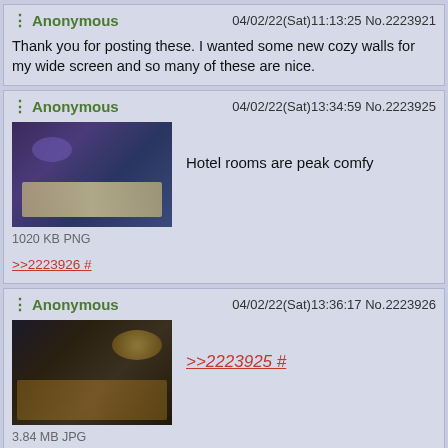Anonymous 04/02/22(Sat)11:13:25 No.2223921
Thank you for posting these. I wanted some new cozy walls for my wide screen and so many of these are nice.
Anonymous 04/02/22(Sat)13:34:59 No.2223925
Hotel rooms are peak comfy
1020 KB PNG
>>2223926 #
Anonymous 04/02/22(Sat)13:36:17 No.2223926
>>2223925 #
3.84 MB JPG
Anonymous 04/02/22(Sat)15:09:04 No.2223928